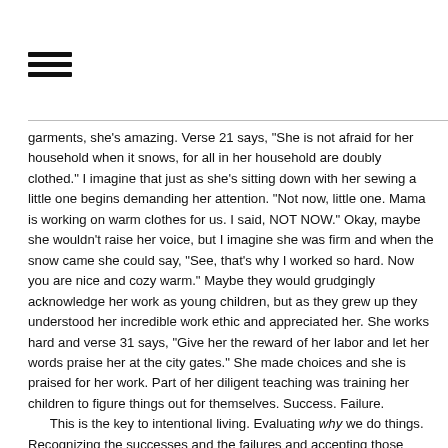[Figure (other): Hamburger menu icon (three horizontal lines)]
garments, she's amazing. Verse 21 says, "She is not afraid for her household when it snows, for all in her household are doubly clothed." I imagine that just as she's sitting down with her sewing a little one begins demanding her attention. "Not now, little one. Mama is working on warm clothes for us. I said, NOT NOW." Okay, maybe she wouldn't raise her voice, but I imagine she was firm and when the snow came she could say, "See, that's why I worked so hard. Now you are nice and cozy warm." Maybe they would grudgingly acknowledge her work as young children, but as they grew up they understood her incredible work ethic and appreciated her. She works hard and verse 31 says, "Give her the reward of her labor and let her words praise her at the city gates." She made choices and she is praised for her work. Part of her diligent teaching was training her children to figure things out for themselves. Success. Failure.
	This is the key to intentional living. Evaluating why we do things. Recognizing the successes and the failures and accepting those choices and their consequences. I'm trying to teach Logan this. Sometimes he wants to two things that are occurring at the same time.